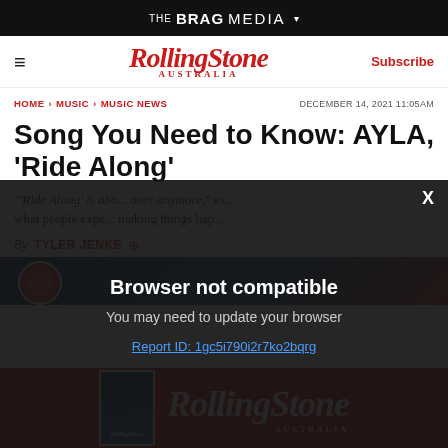THE BRAG MEDIA ▾
RollingStone AUSTRALIA  Subscribe
HOME > MUSIC > MUSIC NEWS    DECEMBER 14, 2021 11:05AM
Song You Need to Know: AYLA, 'Ride Along'
'Ride Along' is abo... over anymore," ex... what people expe... making things hap...
By  TYLER JENKE
[Figure (photo): Article image strip with red circle logo element]
[Figure (screenshot): Browser not compatible modal overlay. Title: Browser not compatible. Subtitle: You may need to update your browser. Link: Report ID: 1gc5i790i2r7ko2bqrg]
[Figure (logo): Rolling Stone Australia advertisement banner with red background and white RollingStone logo]